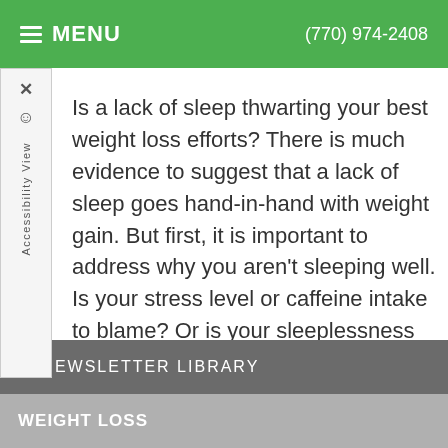MENU  (770) 974-2408
Is a lack of sleep thwarting your best weight loss efforts? There is much evidence to suggest that a lack of sleep goes hand-in-hand with weight gain. But first, it is important to address why you aren't sleeping well. Is your stress level or caffeine intake to blame? Or is your sleeplessness due to
Read more
< NEWSLETTER LIBRARY
WEIGHT LOSS